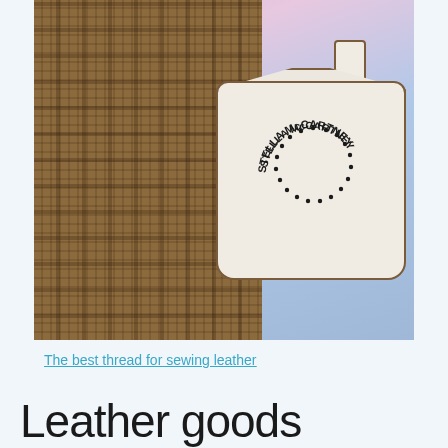[Figure (photo): A cream/off-white Stella McCartney shoulder bag with circular perforated dot logo text reading 'STELLA McCARTNEY', held against a plaid brown jacket with a purple-blue sky background]
The best thread for sewing leather
Leather goods